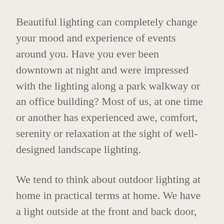Beautiful lighting can completely change your mood and experience of events around you. Have you ever been downtown at night and were impressed with the lighting along a park walkway or an office building? Most of us, at one time or another has experienced awe, comfort, serenity or relaxation at the sight of well-designed landscape lighting.
We tend to think about outdoor lighting at home in practical terms at home. We have a light outside at the front and back door, or a motion detector triggered light above the garage door. They are attached to the house or garage and are there so you can safely see where you are going when outdoors at night.